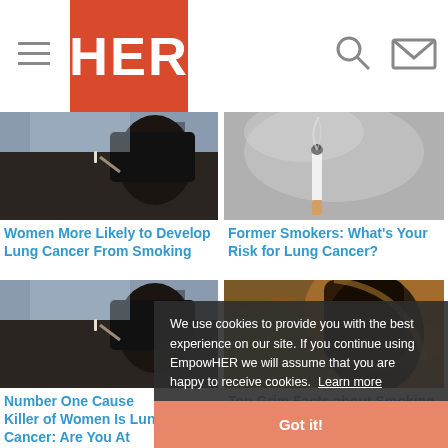HER
[Figure (photo): Woman smoking a cigarette, looking upward, dark hair, urban background]
Women More Likely to Develop Lung Cancer From Smoking
[Figure (photo): Close-up black and white photo of a lit cigarette with smoke]
Former Smokers: What's Your Risk for Lung Cancer?
[Figure (photo): Woman smoking a cigarette, looking upward, dark hair, urban background (duplicate)]
Number One Cause Killer of Women Is Lung Cancer: Are You At Risk?
[Figure (photo): Silhouette of person smoking against warm backlit background]
Top Grim Facts about Smoking and Lung Cancer
We use cookies to provide you with the best experience on our site. If you continue using EmpowHER we will assume that you are happy to receive cookies. Learn more
Got it!